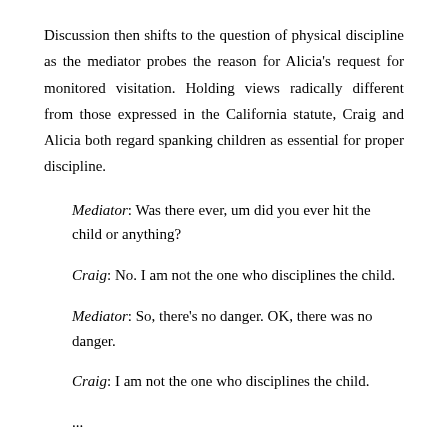Discussion then shifts to the question of physical discipline as the mediator probes the reason for Alicia's request for monitored visitation. Holding views radically different from those expressed in the California statute, Craig and Alicia both regard spanking children as essential for proper discipline.
Mediator: Was there ever, um did you ever hit the child or anything?
Craig: No. I am not the one who disciplines the child.
Mediator: So, there's no danger. OK, there was no danger.
Craig: I am not the one who disciplines the child.
...
Alicia: He shows the child no discipline... and I'm like